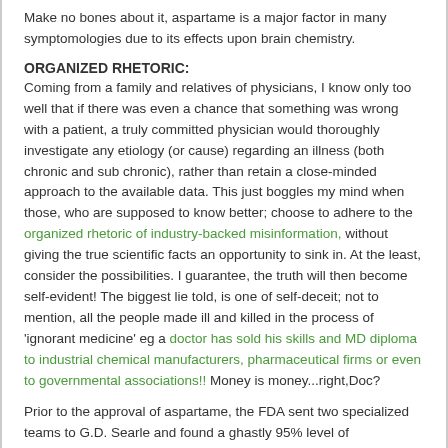Make no bones about it, aspartame is a major factor in many symptomologies due to its effects upon brain chemistry.
ORGANIZED RHETORIC:
Coming from a family and relatives of physicians, I know only too well that if there was even a chance that something was wrong with a patient, a truly committed physician would thoroughly investigate any etiology (or cause) regarding an illness (both chronic and sub chronic), rather than retain a close-minded approach to the available data. This just boggles my mind when those, who are supposed to know better; choose to adhere to the organized rhetoric of industry-backed misinformation, without giving the true scientific facts an opportunity to sink in. At the least, consider the possibilities. I guarantee, the truth will then become self-evident! The biggest lie told, is one of self-deceit; not to mention, all the people made ill and killed in the process of 'ignorant medicine' eg a doctor has sold his skills and MD diploma to industrial chemical manufacturers, pharmaceutical firms or even to governmental associations!! Money is money...right,Doc?
Prior to the approval of aspartame, the FDA sent two specialized teams to G.D. Searle and found a ghastly 95% level of